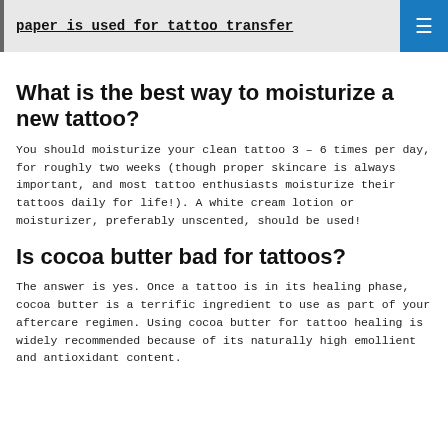paper is used for tattoo transfer
What is the best way to moisturize a new tattoo?
You should moisturize your clean tattoo 3 – 6 times per day, for roughly two weeks (though proper skincare is always important, and most tattoo enthusiasts moisturize their tattoos daily for life!). A white cream lotion or moisturizer, preferably unscented, should be used!
Is cocoa butter bad for tattoos?
The answer is yes. Once a tattoo is in its healing phase, cocoa butter is a terrific ingredient to use as part of your aftercare regimen. Using cocoa butter for tattoo healing is widely recommended because of its naturally high emollient and antioxidant content.